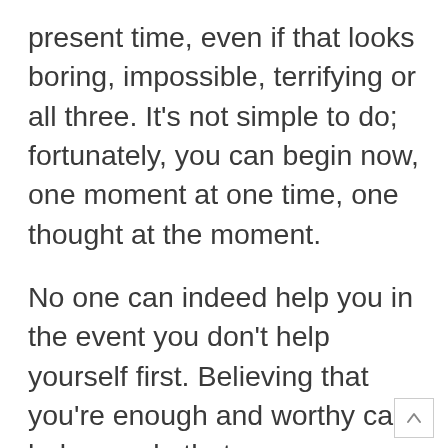present time, even if that looks boring, impossible, terrifying or all three. It's not simple to do; fortunately, you can begin now, one moment at one time, one thought at the moment.
No one can indeed help you in the event you don't help yourself first. Believing that you're enough and worthy can help you do that.
It is quite difficult to let go of that which